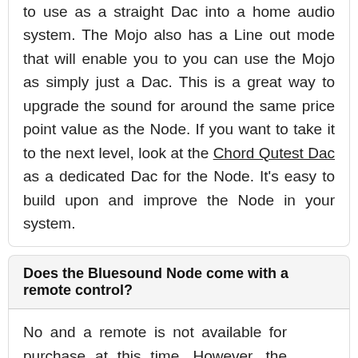to use as a straight Dac into a home audio system. The Mojo also has a Line out mode that will enable you to you can use the Mojo as simply just a Dac. This is a great way to upgrade the sound for around the same price point value as the Node. If you want to take it to the next level, look at the Chord Qutest Dac as a dedicated Dac for the Node. It's easy to build upon and improve the Node in your system.
Does the Bluesound Node come with a remote control?
No and a remote is not available for purchase at this time. However, the BluOS app can act similarly to a remote control, thus your phone or tablet becomes the remote.